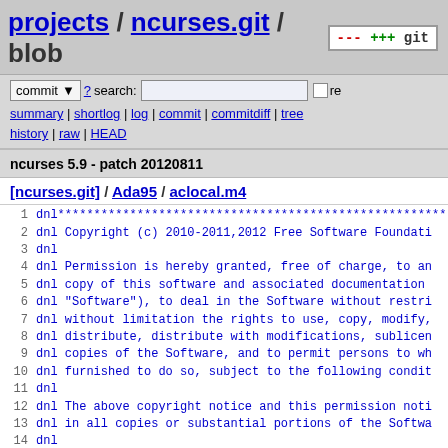projects / ncurses.git / blob
commit ? search: re
summary | shortlog | log | commit | commitdiff | tree
history | raw | HEAD
ncurses 5.9 - patch 20120811
[ncurses.git] / Ada95 / aclocal.m4
1  dnl****...
2  dnl Copyright (c) 2010-2011,2012 Free Software Foundati...
3  dnl
4  dnl Permission is hereby granted, free of charge, to an...
5  dnl copy of this software and associated documentation...
6  dnl "Software"), to deal in the Software without restri...
7  dnl without limitation the rights to use, copy, modify,...
8  dnl distribute, distribute with modifications, sublicen...
9  dnl copies of the Software, and to permit persons to wh...
10 dnl furnished to do so, subject to the following condit...
11 dnl
12 dnl The above copyright notice and this permission noti...
13 dnl in all copies or substantial portions of the Softwa...
14 dnl
15 dnl THE SOFTWARE IS PROVIDED "AS IS", WITHOUT WARRANTY...
16 dnl OR IMPLIED, INCLUDING BUT NOT LIMITED TO THE WARRAN...
17 dnl MERCHANTABILITY, FITNESS FOR A PARTICULAR PURPOSE A...
18 dnl IN NO EVENT SHALL THE ABOVE COPYRIGHT HOLDERS BE LI...
19 dnl DAMAGES OR OTHER LIABILITY, WHETHER IN AN ACTION O...